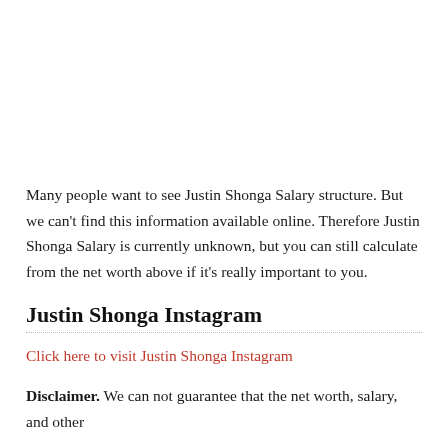Many people want to see Justin Shonga Salary structure. But we can't find this information available online. Therefore Justin Shonga Salary is currently unknown, but you can still calculate from the net worth above if it's really important to you.
Justin Shonga Instagram
Click here to visit Justin Shonga Instagram
Disclaimer. We can not guarantee that the net worth, salary, and other